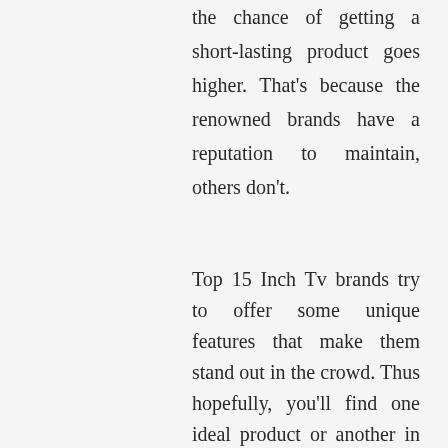the chance of getting a short-lasting product goes higher. That's because the renowned brands have a reputation to maintain, others don't.
Top 15 Inch Tv brands try to offer some unique features that make them stand out in the crowd. Thus hopefully, you'll find one ideal product or another in our list.
2. Features: You don't need heaps of features, but useful ones. We look at the features